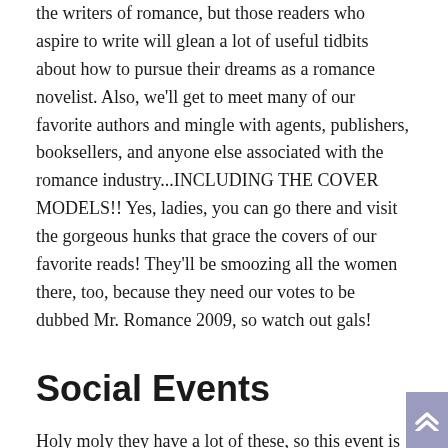the writers of romance, but those readers who aspire to write will glean a lot of useful tidbits about how to pursue their dreams as a romance novelist. Also, we'll get to meet many of our favorite authors and mingle with agents, publishers, booksellers, and anyone else associated with the romance industry...INCLUDING THE COVER MODELS!! Yes, ladies, you can go there and visit the gorgeous hunks that grace the covers of our favorite reads! They'll be smoozing all the women there, too, because they need our votes to be dubbed Mr. Romance 2009, so watch out gals!
Social Events
Holy moly they have a lot of these, so this event is not just about the workshops. PARTY PARTY PARTY!!! From